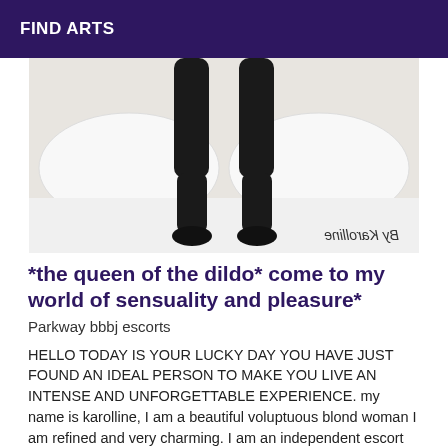FIND ARTS
[Figure (photo): A photo showing a person's legs in black stockings/tights on a white bed, with a mirrored watermark 'By Karolline' in the lower left corner.]
*the queen of the dildo* come to my world of sensuality and pleasure*
Parkway bbbj escorts
HELLO TODAY IS YOUR LUCKY DAY YOU HAVE JUST FOUND AN IDEAL PERSON TO MAKE YOU LIVE AN INTENSE AND UNFORGETTABLE EXPERIENCE. my name is karolline, I am a beautiful voluptuous blond woman I am refined and very charming. I am an independent escort who offers you an unforgettable meeting and intense exchange. IN MY